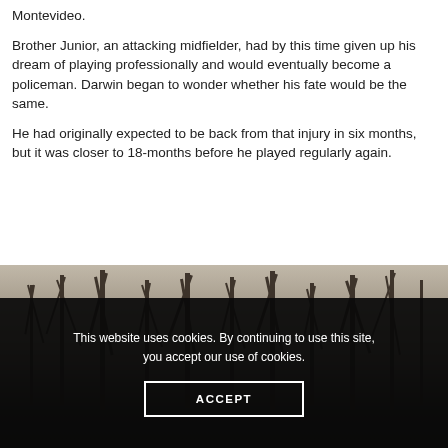Montevideo.
Brother Junior, an attacking midfielder, had by this time given up his dream of playing professionally and would eventually become a policeman. Darwin began to wonder whether his fate would be the same.
He had originally expected to be back from that injury in six months, but it was closer to 18-months before he played regularly again.
[Figure (photo): Outdoor photo showing bare winter trees against a grey sky, partially obscured by a dark cookie consent banner overlay]
This website uses cookies. By continuing to use this site, you accept our use of cookies.
ACCEPT